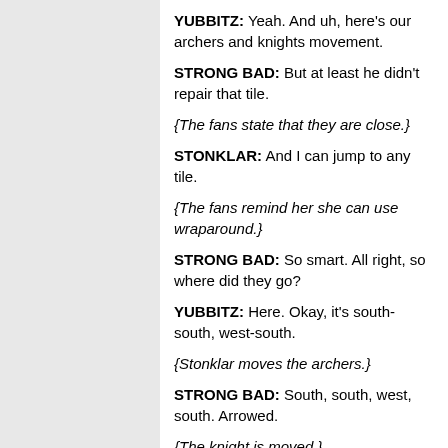YUBBITZ: Yeah. And uh, here's our archers and knights movement.
STRONG BAD: But at least he didn't repair that tile.
{The fans state that they are close.}
STONKLAR: And I can jump to any tile.
{The fans remind her she can use wraparound.}
STRONG BAD: So smart. All right, so where did they go?
YUBBITZ: Here. Okay, it's south-south, west-south.
{Stonklar moves the archers.}
STRONG BAD: South, south, west, south. Arrowed.
{The knight is moved.}
STRONG BAD: